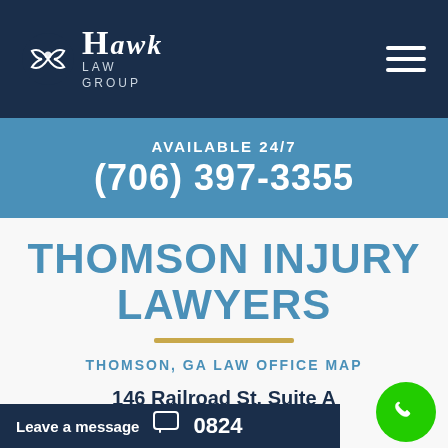[Figure (logo): Hawk Law Group logo with spiral hawk icon and serif text]
AVAILABLE 24/7
(706) 397-3355
THOMSON INJURY LAWYERS
THOMSON, GA LAW OFFICE MAP
146 Railroad St. Suite A
Leave a message
0824